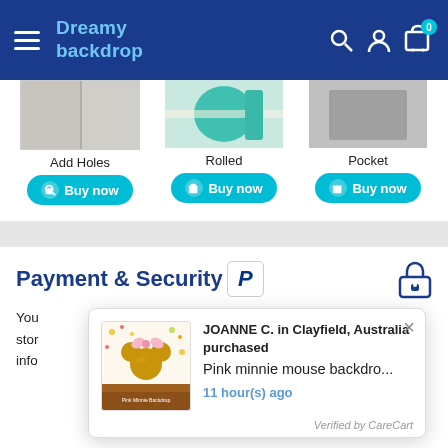Dreamy backdrop
[Figure (photo): Three product option images: Add Holes, Rolled, Pocket, each with a 'Buy now' button]
Payment & Security
[Figure (logo): PayPal logo box]
You...stor...info...
[Figure (other): Purchase notification popup: JOANNE C. in Clayfield, Australia purchased Pink minnie mouse backdro... 11 hour(s) ago. Verified by CareCart.]